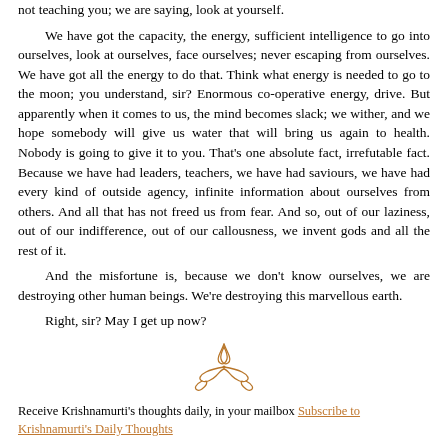not teaching you; we are saying, look at yourself.
We have got the capacity, the energy, sufficient intelligence to go into ourselves, look at ourselves, face ourselves; never escaping from ourselves. We have got all the energy to do that. Think what energy is needed to go to the moon; you understand, sir? Enormous co-operative energy, drive. But apparently when it comes to us, the mind becomes slack; we wither, and we hope somebody will give us water that will bring us again to health. Nobody is going to give it to you. That's one absolute fact, irrefutable fact. Because we have had leaders, teachers, we have had saviours, we have had every kind of outside agency, infinite information about ourselves from others. And all that has not freed us from fear. And so, out of our laziness, out of our indifference, out of our callousness, we invent gods and all the rest of it.
And the misfortune is, because we don't know ourselves, we are destroying other human beings. We're destroying this marvellous earth.
Right, sir? May I get up now?
[Figure (illustration): Decorative calligraphic ornament in brown/copper color]
Receive Krishnamurti's thoughts daily, in your mailbox Subscribe to Krishnamurti's Daily Thoughts